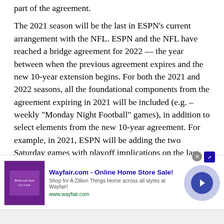part of the agreement.
The 2021 season will be the last in ESPN’s current arrangement with the NFL. ESPN and the NFL have reached a bridge agreement for 2022 — the year between when the previous agreement expires and the new 10-year extension begins. For both the 2021 and 2022 seasons, all the foundational components from the agreement expiring in 2021 will be included (e.g. – weekly “Monday Night Football” games), in addition to select elements from the new 10-year agreement. For example, in 2021, ESPN will be adding the two Saturday games with playoff implications on the last weekend of the regular season. For the 2022 bridge year, ESPN will showcase the two Saturday games with playoff
[Figure (infographic): Wayfair.com advertisement banner with purple bedroom image on left, ad text in center reading 'Wayfair.com - Online Home Store Sale! Shop for A Zillion Things Home across all styles at Wayfair! www.wayfair.com', and a blue circular arrow button on the right. Close button (X) visible at top.]